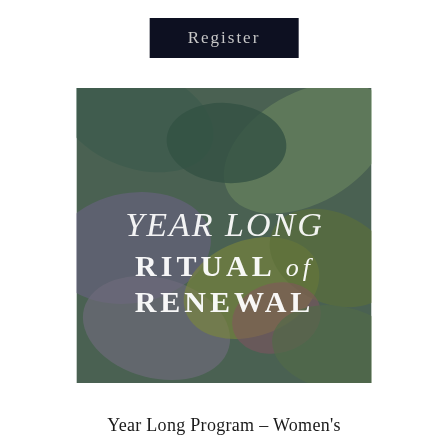Register
[Figure (illustration): A square image featuring overlapping autumn leaves in purple, green, yellow, and muted tones. Over the leaves, stylized white and light text reads: 'YEAR LONG RITUAL of RENEWAL' in a mix of italic script and serif uppercase lettering.]
Year Long Program – Women's